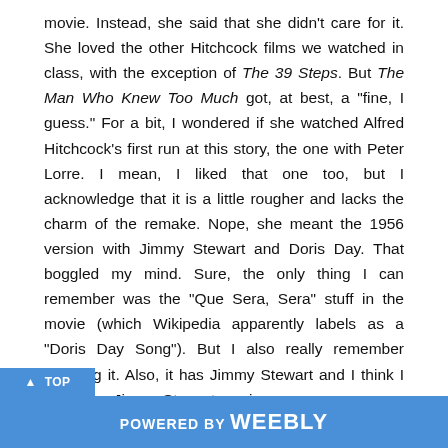movie.  Instead, she said that she didn't care for it.  She loved the other Hitchcock films we watched in class, with the exception of The 39 Steps.  But The Man Who Knew Too Much got, at best, a "fine, I guess."  For a bit, I wondered if she watched Alfred Hitchcock's first run at this story, the one with Peter Lorre.  I mean, I liked that one too, but I acknowledge that it is a little rougher and lacks the charm of the remake.  Nope, she meant the 1956 version with Jimmy Stewart and Doris Day.  That boggled my mind.  Sure, the only thing I can remember was the "Que Sera, Sera" stuff in the movie (which Wikipedia apparently labels as a "Doris Day Song").  But I also really remember enjoying it.  Also, it has Jimmy Stewart and I think I like every Jimmy Stewart movie.

But there is a fundamental flaw with The Man Who Knew Too Much that actually limits the movie.  The Man Who Knew Too Much is a movie that continually breaks its promises.  Like, it does it
POWERED BY weebly